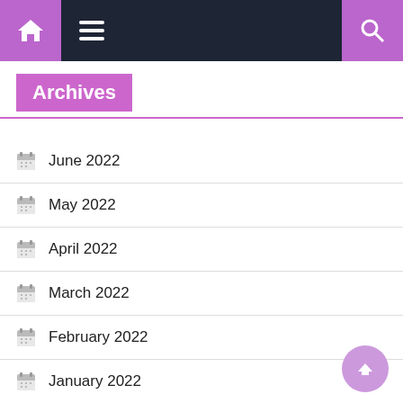Navigation bar with home, menu, and search icons
Archives
June 2022
May 2022
April 2022
March 2022
February 2022
January 2022
December 2021
November 2021